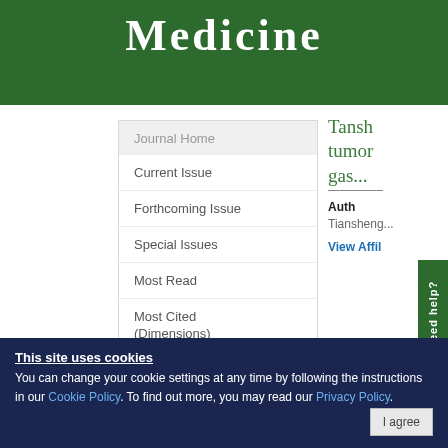Medicine
Journal Home
Current Issue
Forthcoming Issue
Special Issues
Most Read
Most Cited (Dimensions)
Most Cited
Tansh... tumor... gas...
Authors: Tiansheng...
View Affil...
Need help?
This site uses cookies
You can change your cookie settings at any time by following the instructions in our Cookie Policy. To find out more, you may read our Privacy Policy.